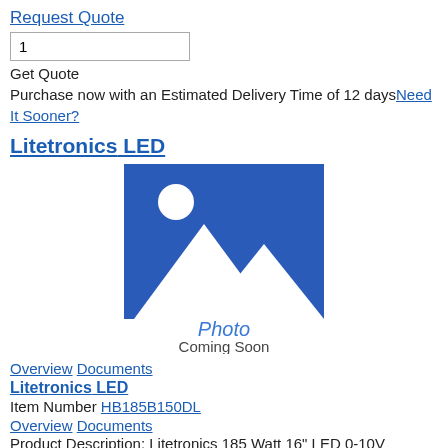Request Quote
1
Get Quote
Purchase now with an Estimated Delivery Time of 12 days Need It Sooner?
Litetronics LED
[Figure (illustration): Photo Coming Soon placeholder image with blue mountain/landscape icon and text 'Photo Coming Soon']
Overview Documents
Litetronics LED
Item Number HB185B150DL
Overview Documents
Product Description: Litetronics 185 Watt 16" LED 0-10V